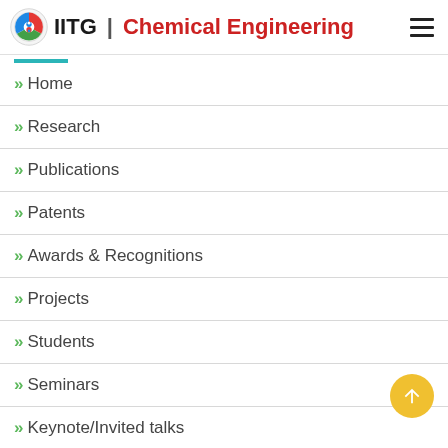IITG | Chemical Engineering
Home
Research
Publications
Patents
Awards & Recognitions
Projects
Students
Seminars
Keynote/Invited talks